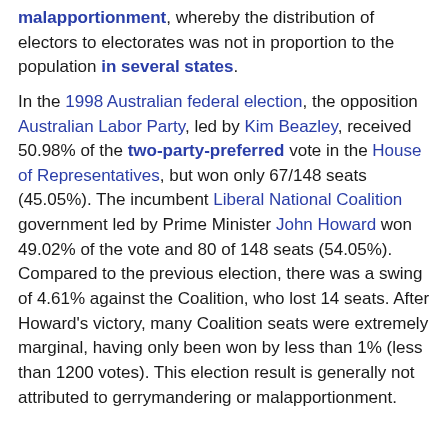malapportionment, whereby the distribution of electors to electorates was not in proportion to the population in several states.
In the 1998 Australian federal election, the opposition Australian Labor Party, led by Kim Beazley, received 50.98% of the two-party-preferred vote in the House of Representatives, but won only 67/148 seats (45.05%). The incumbent Liberal National Coalition government led by Prime Minister John Howard won 49.02% of the vote and 80 of 148 seats (54.05%). Compared to the previous election, there was a swing of 4.61% against the Coalition, who lost 14 seats. After Howard's victory, many Coalition seats were extremely marginal, having only been won by less than 1% (less than 1200 votes). This election result is generally not attributed to gerrymandering or malapportionment.